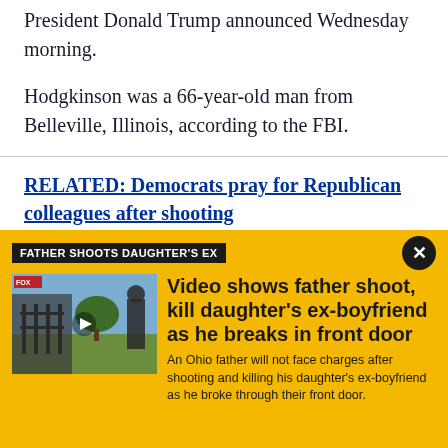President Donald Trump announced Wednesday morning.
Hodgkinson was a 66-year-old man from Belleville, Illinois, according to the FBI.
RELATED: Democrats pray for Republican colleagues after shooting
Hodgkinson was allegedly armed with a rifle when he approached the baseball field and started shooting as
FATHER SHOOTS DAUGHTER'S EX
[Figure (photo): Video thumbnail showing a house exterior and a person]
Video shows father shoot, kill daughter's ex-boyfriend as he breaks in front door
An Ohio father will not face charges after shooting and killing his daughter's ex-boyfriend as he broke through their front door.